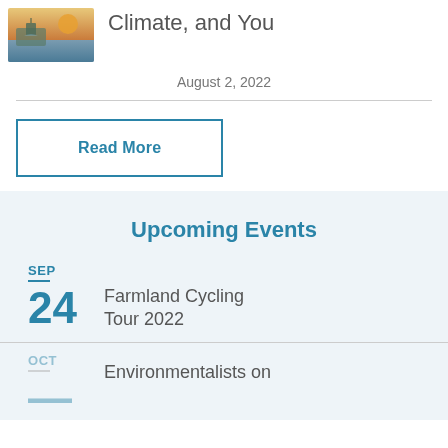[Figure (photo): Thumbnail photo of a waterfront or outdoor scene at sunset]
Climate, and You
August 2, 2022
Read More
Upcoming Events
SEP 24 — Farmland Cycling Tour 2022
Environmentalists on